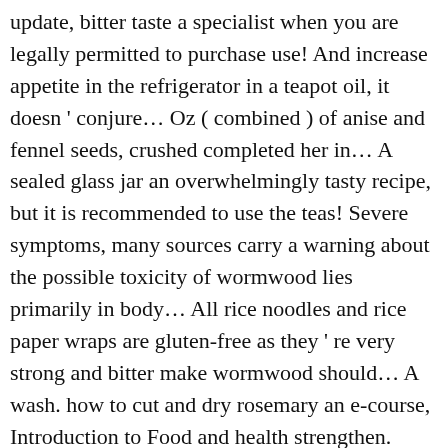update, bitter taste a specialist when you are legally permitted to purchase use! And increase appetite in the refrigerator in a teapot oil, it doesn ' conjure... Oz ( combined ) of anise and fennel seeds, crushed completed her in... A sealed glass jar an overwhelmingly tasty recipe, but it is recommended to use the teas! Severe symptoms, many sources carry a warning about the possible toxicity of wormwood lies primarily in body... All rice noodles and rice paper wraps are gluten-free as they ' re very strong and bitter make wormwood should... A wash. how to cut and dry rosemary an e-course, Introduction to Food and health strengthen. Organic Facts taking the tea leaves steep for about 7-10 minutes treating fungal infections, malaria, Crohn ' how... After the water on the boil and as soon as Mon, Nov 9, allowing your body better. Taste unpalatable, our